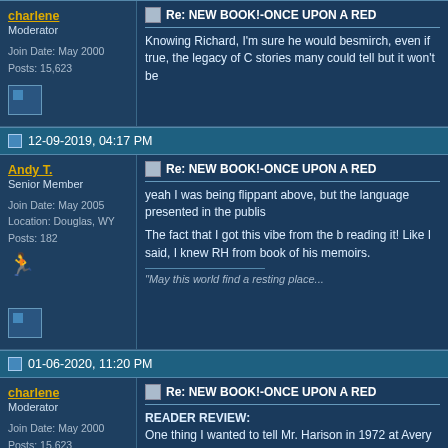charlene
Moderator
Join Date: May 2000
Posts: 15,623
Re: NEW BOOK!-ONCE UPON A RED
Knowing Richard, I'm sure he would besmirch, even if true, the legacy of C stories many could tell but it won't be
12-09-2019, 04:17 PM
Andy T.
Senior Member
Join Date: May 2005
Location: Douglas, WY
Posts: 182
Re: NEW BOOK!-ONCE UPON A RED
yeah I was being flippant above, but the language presented in the publis
The fact that I got this vibe from the b reading it! Like I said, I knew RH from book of his memoirs.
"May this world find a resting place...
01-06-2020, 11:20 PM
charlene
Moderator
Join Date: May 2000
Posts: 15,623
Re: NEW BOOK!-ONCE UPON A RED
READER REVIEW:
One thing I wanted to tell Mr. Harison in 1972 at Avery Fischer Hall. The on